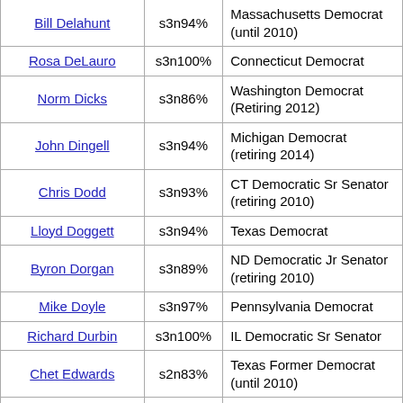| Name | Score | Description |
| --- | --- | --- |
| Bill Delahunt | s3n94% | Massachusetts Democrat (until 2010) |
| Rosa DeLauro | s3n100% | Connecticut Democrat |
| Norm Dicks | s3n86% | Washington Democrat (Retiring 2012) |
| John Dingell | s3n94% | Michigan Democrat (retiring 2014) |
| Chris Dodd | s3n93% | CT Democratic Sr Senator (retiring 2010) |
| Lloyd Doggett | s3n94% | Texas Democrat |
| Byron Dorgan | s3n89% | ND Democratic Jr Senator (retiring 2010) |
| Mike Doyle | s3n97% | Pennsylvania Democrat |
| Richard Durbin | s3n100% | IL Democratic Sr Senator |
| Chet Edwards | s2n83% | Texas Former Democrat (until 2010) |
| Rahm Emanuel | s3n94% | Illinois Former Democrat (until 2009) |
| Eliot Engel | s3n97% | New York Democrat/Libe |
| Anna Eshoo | s3n94% | California Democrat |